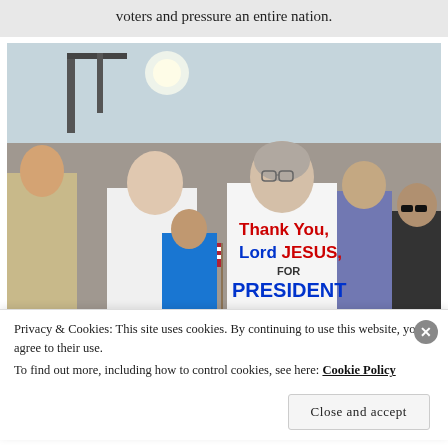voters and pressure an entire nation.
[Figure (photo): Two people at a political rally, a man holding an American flag and a woman in a white t-shirt with text: Thank You, Lord JESUS, FOR PRESIDENT]
Privacy & Cookies: This site uses cookies. By continuing to use this website, you agree to their use.
To find out more, including how to control cookies, see here: Cookie Policy
Close and accept